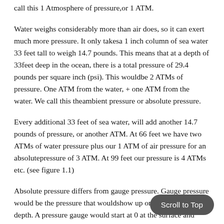call this 1 Atmosphere of pressure, or 1 ATM.
Water weighs considerably more than air does, so it can exert much more pressure. It only takesa 1 inch column of sea water 33 feet tall to weigh 14.7 pounds. This means that at a depth of 33feet deep in the ocean, there is a total pressure of 29.4 pounds per square inch (psi). This wouldbe 2 ATMs of pressure. One ATM from the water, + one ATM from the water. We call this theambient pressure or absolute pressure.
Every additional 33 feet of sea water, will add another 14.7 pounds of pressure, or another ATM. At 66 feet we have two ATMs of water pressure plus our 1 ATM of air pressure for an absolutepressure of 3 ATM. At 99 feet our pressure is 4 ATMs etc. (see figure 1.1)
Absolute pressure differs from gauge pressure. Gauge pressure would be the pressure that wouldshow up on a gauge at this depth. A pressure gauge would start at 0 at the surface and show 14.7psi at our depth of 33 feet. Gauge pressure would ignore the 14.7 psi of atmospheric pressure.